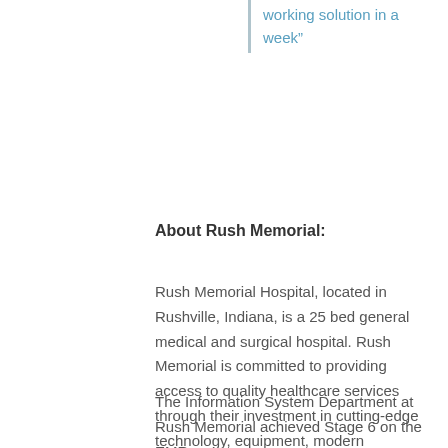working solution in a week”
About Rush Memorial:
Rush Memorial Hospital, located in Rushville, Indiana, is a 25 bed general medical and surgical hospital. Rush Memorial is committed to providing access to quality healthcare services through their investment in cutting-edge technology, equipment, modern facilities, physicians, specialty providers and staff.
The Information System Department at Rush Memorial achieved Stage 6 on the EMR